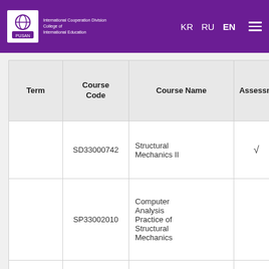International Cooperation Division College of International Education | KR RU EN
| Term | Course Code | Course Name | Assessment |
| --- | --- | --- | --- |
|  | SD33000742 | Structural Mechanics II | ✓ |
|  | SP33002010 | Computer Analysis Practice of Structural Mechanics |  |
|  | SD33001510 | Loads and Structural Design Methods | ✓ |
|  | SC33000810 | Design for Concrete and ... | ✓ |